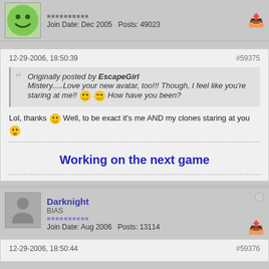Join Date: Dec 2005  Posts: 49023
12-29-2006, 18:50:39
#59375
Originally posted by EscapeGirl
Mistery.....Love your new avatar, too!!! Though, I feel like you're staring at me!! [emoji] [emoji] How have you been?
Lol, thanks [emoji] Well, to be exact it's me AND my clones staring at you [emoji]
Working on the next game
Darknight
BIAS
Join Date: Aug 2006  Posts: 13114
12-29-2006, 18:50:44
#59376